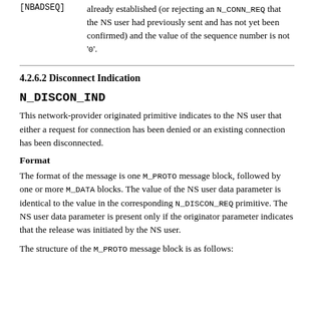[NBADSEQ]    already established (or rejecting an N_CONN_REQ that the NS user had previously sent and has not yet been confirmed) and the value of the sequence number is not '0'.
4.2.6.2 Disconnect Indication
N_DISCON_IND
This network-provider originated primitive indicates to the NS user that either a request for connection has been denied or an existing connection has been disconnected.
Format
The format of the message is one M_PROTO message block, followed by one or more M_DATA blocks. The value of the NS user data parameter is identical to the value in the corresponding N_DISCON_REQ primitive. The NS user data parameter is present only if the originator parameter indicates that the release was initiated by the NS user.
The structure of the M_PROTO message block is as follows: